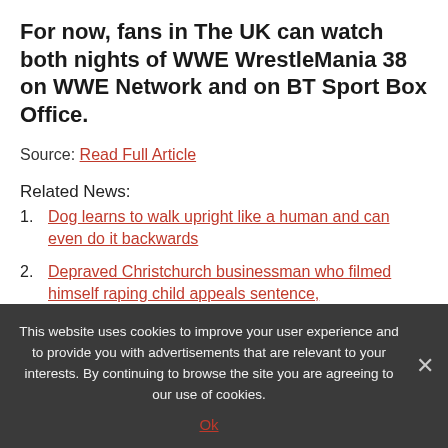For now, fans in The UK can watch both nights of WWE WrestleMania 38 on WWE Network and on BT Sport Box Office.
Source: Read Full Article
Related News:
Dog learns to walk upright like a human and can even do it backwards
Depraved Christchurch businessman who filmed himself raping child appeals sentence,
This website uses cookies to improve your user experience and to provide you with advertisements that are relevant to your interests. By continuing to browse the site you are agreeing to our use of cookies.
Ok